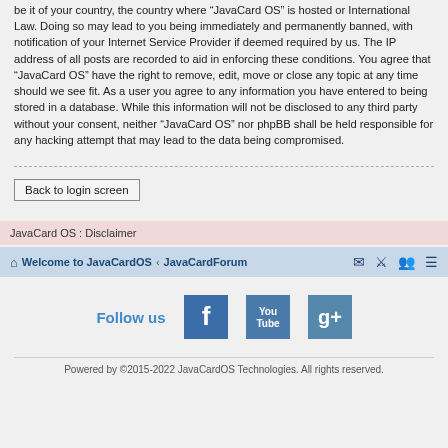be it of your country, the country where “JavaCard OS” is hosted or International Law. Doing so may lead to you being immediately and permanently banned, with notification of your Internet Service Provider if deemed required by us. The IP address of all posts are recorded to aid in enforcing these conditions. You agree that “JavaCard OS” have the right to remove, edit, move or close any topic at any time should we see fit. As a user you agree to any information you have entered to being stored in a database. While this information will not be disclosed to any third party without your consent, neither “JavaCard OS” nor phpBB shall be held responsible for any hacking attempt that may lead to the data being compromised.
Back to login screen
JavaCard OS : Disclaimer
Welcome to JavaCardOS ¹ JavaCardForum
[Figure (infographic): Follow us section with Facebook, YouTube, and Google+ social media icon buttons]
Powered by ©2015-2022 JavaCardOS Technologies. All rights reserved.